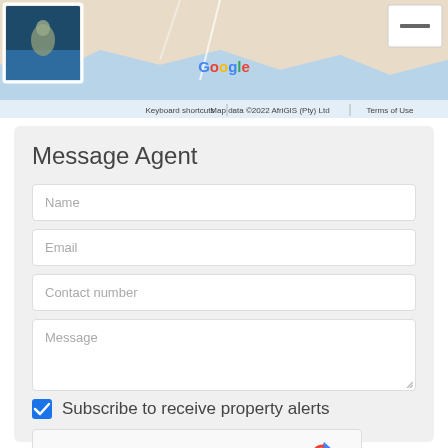[Figure (map): Google Maps screenshot showing a coastal area with land and water, with a thumbnail photo of an animal in the top-left corner, a minus/zoom button in the top-right, Google logo in the center, and map attribution footer.]
Message Agent
Name
Email
Contact number
Message
Subscribe to receive property alerts
I'm not a robot
reCAPTCHA